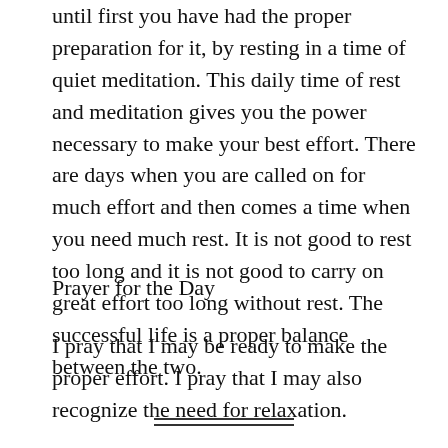until first you have had the proper preparation for it, by resting in a time of quiet meditation. This daily time of rest and meditation gives you the power necessary to make your best effort. There are days when you are called on for much effort and then comes a time when you need much rest. It is not good to rest too long and it is not good to carry on great effort too long without rest. The successful life is a proper balance between the two.
Prayer for the Day
I pray that I may be ready to make the proper effort. I pray that I may also recognize the need for relaxation.